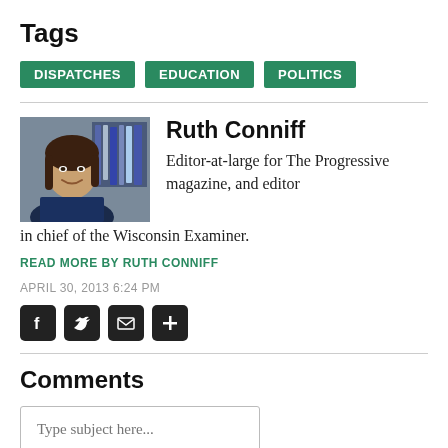Tags
DISPATCHES
EDUCATION
POLITICS
[Figure (photo): Headshot photo of Ruth Conniff, a woman with long dark hair, smiling, with bookshelves in the background.]
Ruth Conniff
Editor-at-large for The Progressive magazine, and editor in chief of the Wisconsin Examiner.
READ MORE BY RUTH CONNIFF
APRIL 30, 2013 6:24 PM
[Figure (other): Social sharing icons: Facebook, Twitter, Email, Plus/More]
Comments
Type subject here...